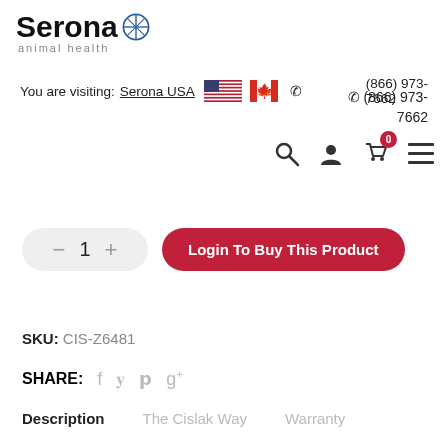[Figure (logo): Serona animal health logo with blue compass/cross icon]
You are visiting: Serona USA  ☎ (866) 973-7662
[Figure (infographic): Navigation icon bar: search, user, cart (0), menu]
[Figure (infographic): Quantity selector showing 1 with minus and plus buttons, and Login To Buy This Product button]
SKU: CIS-Z6481
SHARE:  f  t  p  g+
Description   The Cislak Way   Warranty